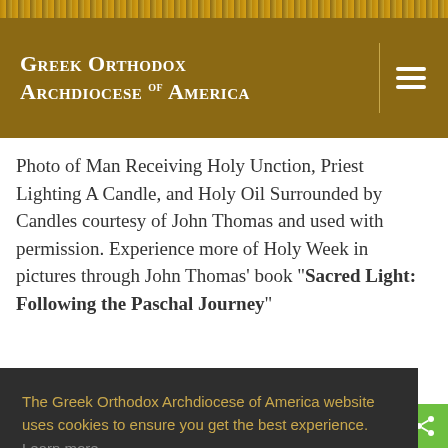Greek Orthodox Archdiocese of America
Photo of Man Receiving Holy Unction, Priest Lighting A Candle, and Holy Oil Surrounded by Candles courtesy of John Thomas and used with permission. Experience more of Holy Week in pictures through John Thomas' book "Sacred Light: Following the Paschal Journey"
The Greek Orthodox Archdiocese of America website uses cookies to ensure you get the best experience. Learn more
Got it!